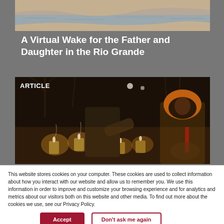[Figure (photo): Aerial or wide-angle photo of the Rio Grande river with sandy banks and water]
A Virtual Wake for the Father and Daughter in the Rio Grande
[Figure (photo): Nighttime photo with people lighting candles outdoors in winter clothing, labeled ARTICLE]
This website stores cookies on your computer. These cookies are used to collect information about how you interact with our website and allow us to remember you. We use this information in order to improve and customize your browsing experience and for analytics and metrics about our visitors both on this website and other media. To find out more about the cookies we use, see our Privacy Policy.
Accept
Don't ask me again